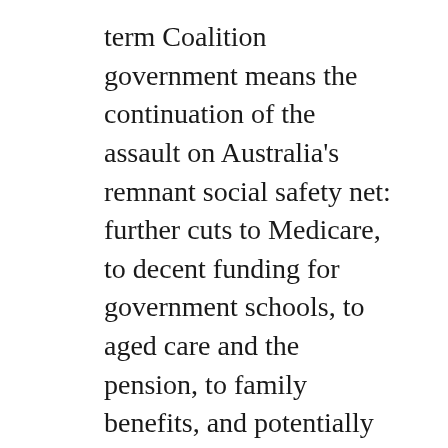term Coalition government means the continuation of the assault on Australia's remnant social safety net: further cuts to Medicare, to decent funding for government schools, to aged care and the pension, to family benefits, and potentially to penalty rates. A Coalition government will continue to undermine key aspects of Australia's public sphere. The fate of the CSIRO, of SBS, and the Australia Council may all be at stake.
In contrast, a Labor government would mean a significant shift against the power of big business, and towards a more redistributive and more equal society. There is every sign a Shorten government would attempt to mend some of the holes in the safety net, shore up support for